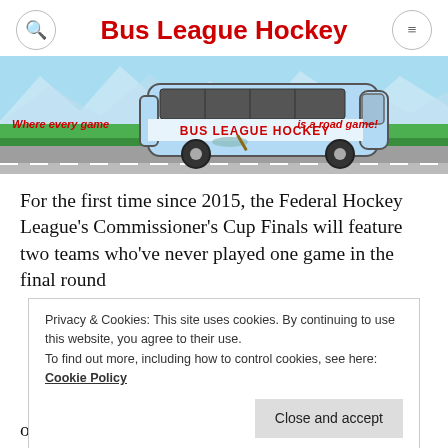Bus League Hockey
[Figure (illustration): Bus League Hockey banner showing a blue bus with 'BUS LEAGUE HOCKEY' text, mountains in background, green grass, road. Text on left: 'Where every game' and right: 'is a road game!']
For the first time since 2015, the Federal Hockey League's Commissioner's Cup Finals will feature two teams who've never played one game in the final round
Privacy & Cookies: This site uses cookies. By continuing to use this website, you agree to their use.
To find out more, including how to control cookies, see here: Cookie Policy
outright one-and-two teams all season, and it's not